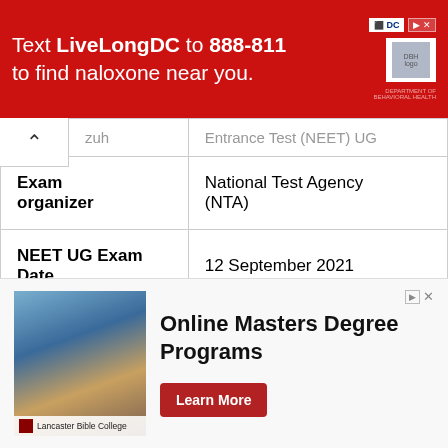[Figure (infographic): Red advertisement banner: 'Text LiveLongDC to 888-811 to find naloxone near you.' with DC Health logo on right.]
|  | Entrance Test (NEET) UG |
| --- | --- |
| Exam organizer | National Test Agency (NTA) |
| NEET UG Exam Date | 12 September 2021 |
| NEET UG Exam Result Date | 1 November 2021 |
| Category | Merit List |
| NEET UG Merit | Available Soon |
[Figure (infographic): Bottom advertisement for Lancaster Bible College: 'Online Masters Degree Programs' with a 'Learn More' button.]